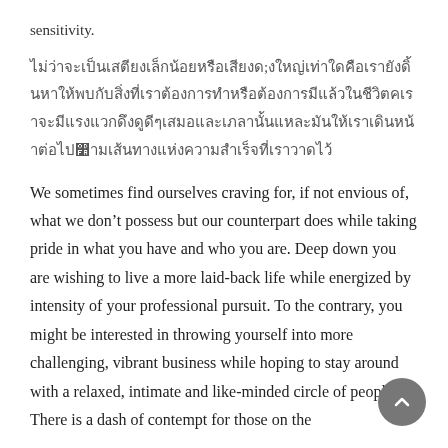sensitivity.
Thai text paragraph (non-Latin script).
We sometimes find ourselves craving for, if not envious of, what we don't possess but our counterpart does while taking pride in what you have and who you are. Deep down you are wishing to live a more laid-back life while energized by intensity of your professional pursuit. To the contrary, you might be interested in throwing yourself into more challenging, vibrant business while hoping to stay around with a relaxed, intimate and like-minded circle of people. There is a dash of contempt for those on the